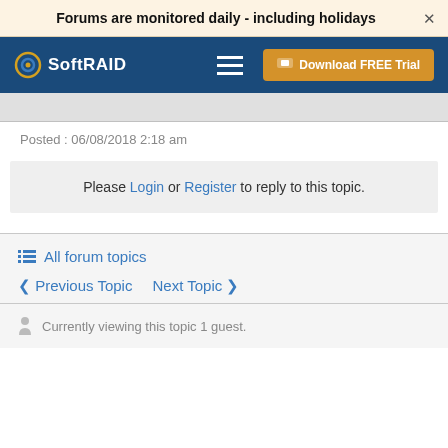Forums are monitored daily - including holidays
[Figure (logo): SoftRAID logo with hamburger menu and Download FREE Trial button on dark blue navbar]
Posted : 06/08/2018 2:18 am
Please Login or Register to reply to this topic.
All forum topics
< Previous Topic   Next Topic >
Currently viewing this topic 1 guest.